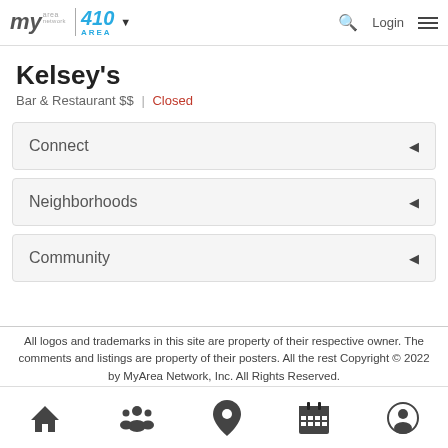my area network | 410 AREA | Login
Kelsey's
Bar & Restaurant $$ | Closed
Connect
Neighborhoods
Community
All logos and trademarks in this site are property of their respective owner. The comments and listings are property of their posters. All the rest Copyright © 2022 by MyArea Network, Inc. All Rights Reserved.
Home | Community | Location | Calendar | Profile